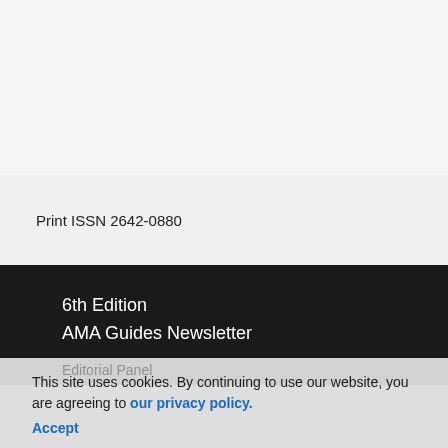Print ISSN 2642-0880
6th Edition
AMA Guides Newsletter
Editorial Panel
This site uses cookies. By continuing to use our website, you are agreeing to our privacy policy. Accept